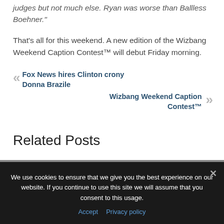judges but not much else. Ryan was worse than Ballless Boehner."
That's all for this weekend. A new edition of the Wizbang Weekend Caption Contest™ will debut Friday morning.
« Fox News hires Clinton crony Donna Brazile
Wizbang Weekend Caption Contest™ »
Related Posts
We use cookies to ensure that we give you the best experience on our website. If you continue to use this site we will assume that you consent to this usage.
Accept  Privacy policy